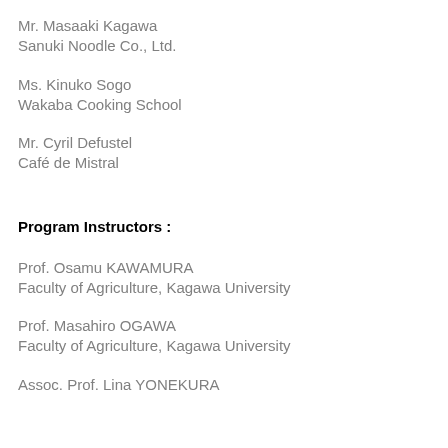Mr. Masaaki Kagawa
Sanuki Noodle Co., Ltd.
Ms. Kinuko Sogo
Wakaba Cooking School
Mr. Cyril Defustel
Café de Mistral
Program Instructors :
Prof. Osamu KAWAMURA
Faculty of Agriculture, Kagawa University
Prof. Masahiro OGAWA
Faculty of Agriculture, Kagawa University
Assoc. Prof. Lina YONEKURA